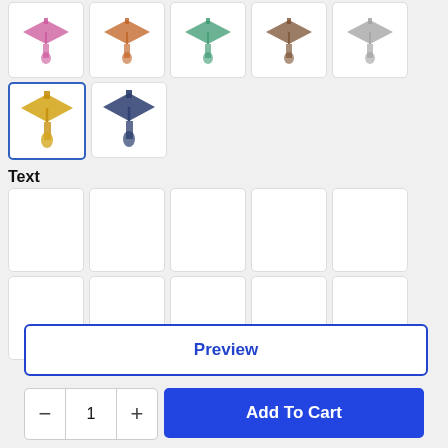[Figure (illustration): Grid of graduation cap color options: pink, orange, teal, brown, gray (top row); gold (selected), navy (second row)]
Text
[Figure (illustration): Two rows of 5 empty white text option thumbnail boxes]
Preview
— 1 + Add To Cart